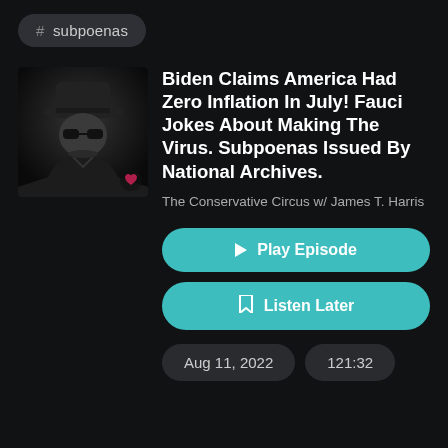# subpoenas
[Figure (photo): Black and white portrait photo of a man wearing a hat and sunglasses, with iHeart radio logo overlay in bottom right]
Biden Claims America Had Zero Inflation In July! Fauci Jokes About Making The Virus. Subpoenas Issued By National Archives.
The Conservative Circus w/ James T. Harris
Play Episode
Listen Later
Aug 11, 2022
121:32